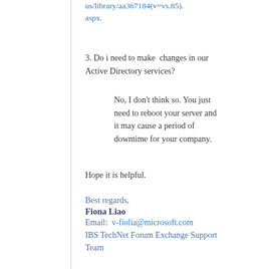us/library/aa367184(v=vs.85).aspx.
3. Do i need to make  changes in our Active Directory services?
No, I don't think so. You just need to reboot your server and it may cause a period of downtime for your company.
Hope it is helpful.
Best regards,
Fiona Liao
Email:  v-fiolia@microsoft.com
IBS TechNet Forum Exchange Support Team